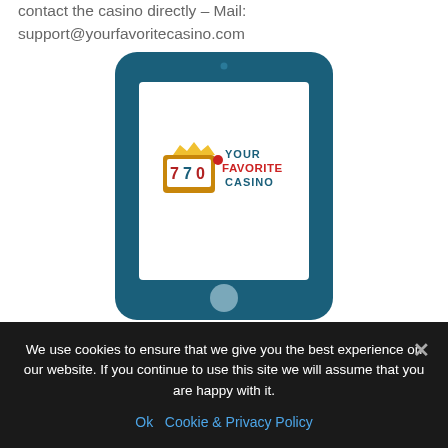contact the casino directly – Mail: support@yourfavoritecasino.com
[Figure (illustration): Illustration of a dark teal tablet device displaying the Your Favorite Casino logo (slot machine graphic with '770' and text 'YOUR FAVORITE CASINO') on a white screen. The tablet has rounded corners, a camera dot at the top, and a circular home button at the bottom.]
We use cookies to ensure that we give you the best experience on our website. If you continue to use this site we will assume that you are happy with it.
Ok   Cookie & Privacy Policy